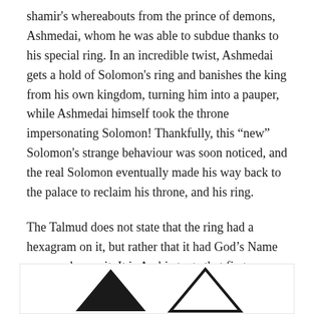shamir's whereabouts from the prince of demons, Ashmedai, whom he was able to subdue thanks to his special ring. In an incredible twist, Ashmedai gets a hold of Solomon's ring and banishes the king from his own kingdom, turning him into a pauper, while Ashmedai himself took the throne impersonating Solomon! Thankfully, this “new” Solomon's strange behaviour was soon noticed, and the real Solomon eventually made his way back to the palace to reclaim his throne, and his ring.
The Talmud does not state that the ring had a hexagram on it, but rather that it had God’s Name engraved upon it. It is Arabic texts that first connect the ring to the hexagram. Some attempt to distinguish between the “Star of David” and the “Seal of Solomon” by suggesting that the hexagram of the former is made up of overlapping triangles while the hexagram of the latter is intertwined:
[Figure (illustration): Two partial triangle/hexagram figures shown side by side at the bottom of the page, partially cut off. Left figure shows a solid black upward-pointing triangle. Right figure shows an outlined/intertwined upward-pointing triangle. Both are inside a rectangular bordered frame.]